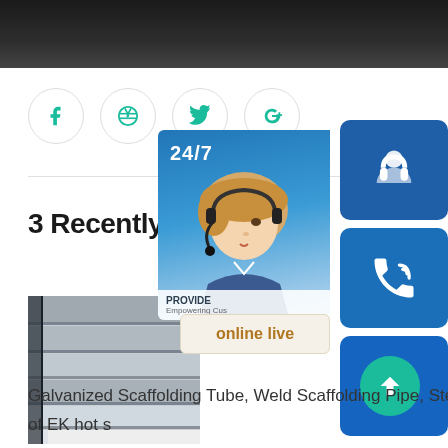[Figure (photo): Dark banner image at top of page showing a blurred/dark background]
[Figure (infographic): Social media icon circles: Facebook, Dribbble, Twitter, Google+]
3 Recently News
[Figure (photo): Thumbnail image of galvanized steel/scaffolding pipe sheets stacked]
[Figure (infographic): Right-side support widget with 24/7 label, customer service woman photo, headset icon button, phone icon button, Skype icon button, online live button]
Galvanized Scaffolding Tube, Weld Scaffolding Pipe, Steel scaffolding pipe is also one of EK hot s